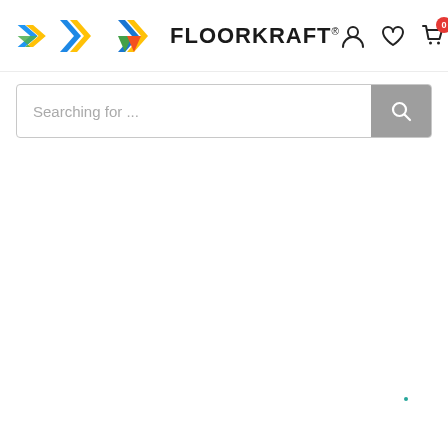FLOORKRAFT® — navigation header with logo, search, user, wishlist, cart (0), menu icons
[Figure (screenshot): Search bar with placeholder text 'Searching for ...' and a grey search button icon on the right]